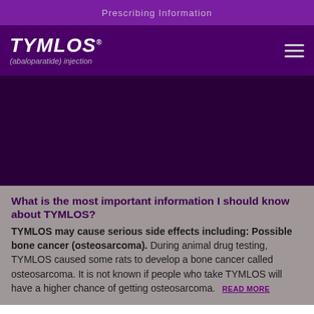Prescribing Information
[Figure (logo): TYMLOS (abaloparatide) injection logo in white italic bold text on dark purple background, with hamburger menu icon on the right]
[Figure (photo): Dark purple/maroon hero image area, appears to be a background image section]
What is the most important information I should know about TYMLOS?
TYMLOS may cause serious side effects including: Possible bone cancer (osteosarcoma). During animal drug testing, TYMLOS caused some rats to develop a bone cancer called osteosarcoma. It is not known if people who take TYMLOS will have a higher chance of getting osteosarcoma. READ MORE